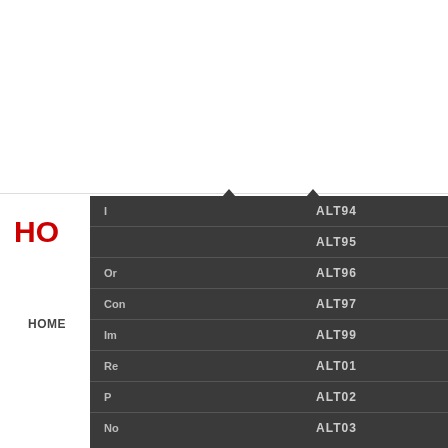HOME   ALT22   ALT HISTORY   PROCEEDINGS
[Figure (screenshot): Dropdown navigation menu with dark background showing two columns. Left column items partially visible: I, Or, Con, Im, Re, P, No. Right column shows: ALT94, ALT95, ALT96, ALT97, ALT99, ALT01, ALT02, ALT03]
HO
ional Conference 1992 by the ssian Academy ipal ideas o ons on fun with their medicine, ph ference has